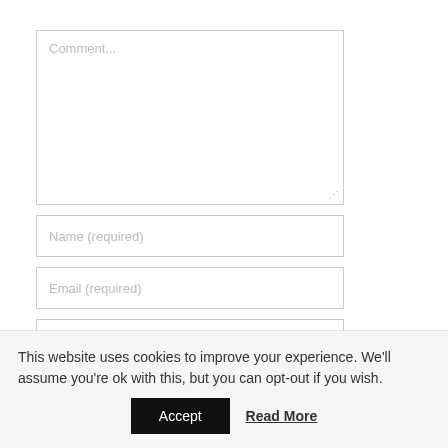Comment...
Name (required)
Email (required)
Website
POST COMMENT
This website uses cookies to improve your experience. We'll assume you're ok with this, but you can opt-out if you wish.
Accept
Read More